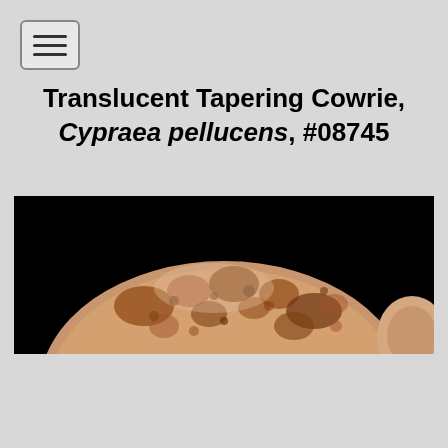[Figure (other): Hamburger menu button icon with three horizontal lines inside a rounded rectangle border]
Translucent Tapering Cowrie, Cypraea pellucens, #08745
[Figure (photo): Close-up photograph of a cowrie shell (Cypraea pellucens) against a black background, showing the top surface with brown and orange mottled pattern]